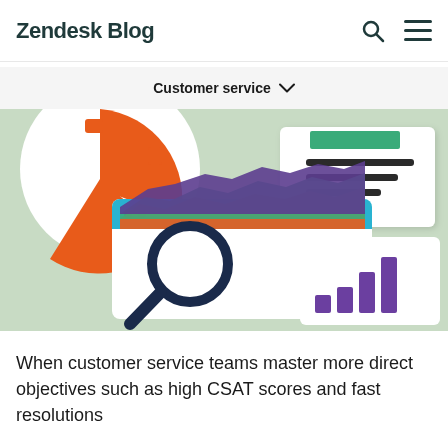Zendesk Blog
Customer service
[Figure (illustration): Illustrated paper-cut style image on a light green background showing analytics and data visualization elements: an orange pie/gear chart, a browser window with colorful area charts (purple, green, orange) and a magnifying glass, plus a white card with purple bar charts and decorative lines with a green rectangle.]
When customer service teams master more direct objectives such as high CSAT scores and fast resolutions